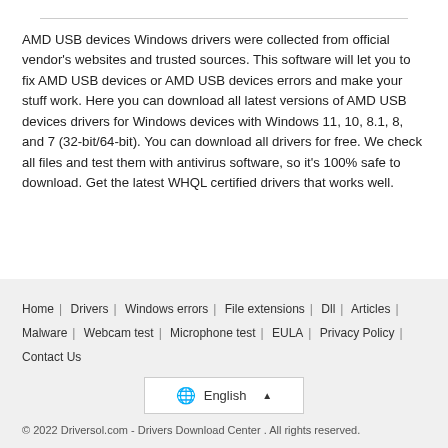AMD USB devices Windows drivers were collected from official vendor's websites and trusted sources. This software will let you to fix AMD USB devices or AMD USB devices errors and make your stuff work. Here you can download all latest versions of AMD USB devices drivers for Windows devices with Windows 11, 10, 8.1, 8, and 7 (32-bit/64-bit). You can download all drivers for free. We check all files and test them with antivirus software, so it's 100% safe to download. Get the latest WHQL certified drivers that works well.
Home | Drivers | Windows errors | File extensions | Dll | Articles | Malware | Webcam test | Microphone test | EULA | Privacy Policy | Contact Us
English
© 2022 Driversol.com - Drivers Download Center . All rights reserved.